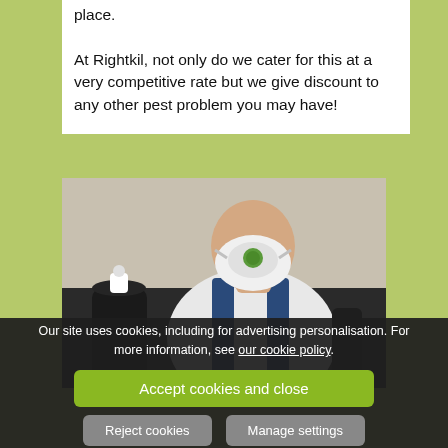place.

At Rightkil, not only do we cater for this at a very competitive rate but we give discount to any other pest problem you may have!
[Figure (photo): A pest control worker wearing a white respirator mask, white t-shirt, and blue overalls/suspenders, holding a spray bottle. A dark spray canister visible in the foreground.]
Our site uses cookies, including for advertising personalisation. For more information, see our cookie policy.
Accept cookies and close
Reject cookies
Manage settings